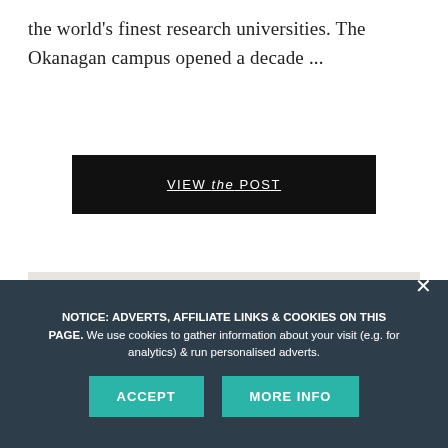the world's finest research universities. The Okanagan campus opened a decade ...
[Figure (other): Black button with text 'VIEW the POST' where 'the' is in italic]
[Figure (photo): Photo of three people including a man in a suit on the left, a woman with dark upswept hair in the center smiling, and an older man on the right, posed in front of a white wall background]
NOTICE: ADVERTS, AFFILIATE LINKS & COOKIES ON THIS PAGE. We use cookies to gather information about your visit (e.g. for analytics) & run personalised adverts.